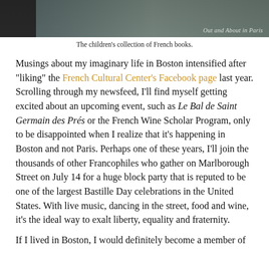[Figure (photo): Partial photo of children's French book collection, dark toned image with watermark text 'Out and About in Paris' in lower right]
The children's collection of French books.
Musings about my imaginary life in Boston intensified after "liking" the French Cultural Center's Facebook page last year. Scrolling through my newsfeed, I'll find myself getting excited about an upcoming event, such as Le Bal de Saint Germain des Prés or the French Wine Scholar Program, only to be disappointed when I realize that it's happening in Boston and not Paris. Perhaps one of these years, I'll join the thousands of other Francophiles who gather on Marlborough Street on July 14 for a huge block party that is reputed to be one of the largest Bastille Day celebrations in the United States. With live music, dancing in the street, food and wine, it's the ideal way to exalt liberty, equality and fraternity.
If I lived in Boston, I would definitely become a member of